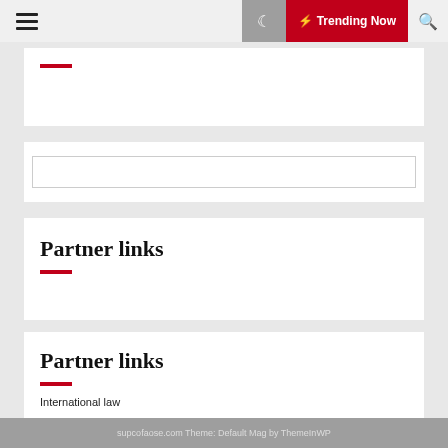☰ 🌙 ⚡ Trending Now 🔍
Partner links
Partner links
International law
supcofaose.com Theme: Default Mag by ThemeInWP